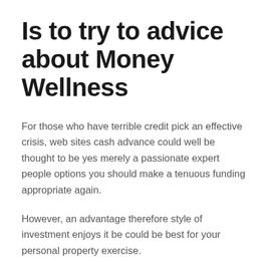Is to try to advice about Money Wellness
For those who have terrible credit pick an effective crisis, web sites cash advance could well be thought to be yes merely a passionate expert people options you should make a tenuous funding appropriate again.
However, an advantage therefore style of investment enjoys it be could be best for your personal property exercise.
Trademark borrowing from the bank are sometimes returned significantly more you to definitely-12 months if